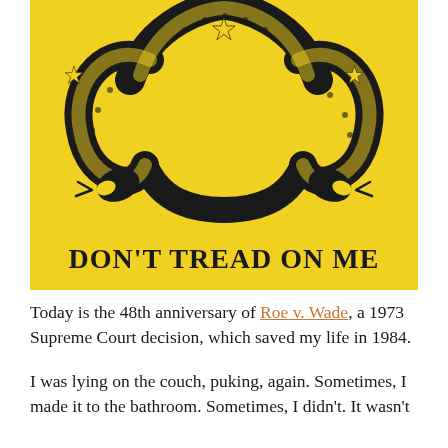[Figure (illustration): Yellow background illustration showing a snake coiled in the shape of a uterus/reproductive system, with the text 'DON'T TREAD ON ME' in large black serif letters at the bottom, styled after the Gadsden flag design.]
Today is the 48th anniversary of Roe v. Wade, a 1973 Supreme Court decision, which saved my life in 1984.
I was lying on the couch, puking, again. Sometimes, I made it to the bathroom. Sometimes, I didn't. It wasn't